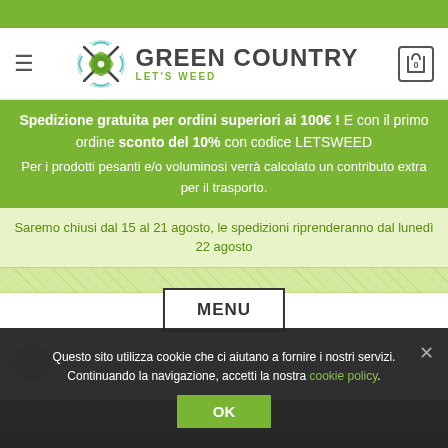[Figure (logo): Green Country - Let's Weed logo with decorative leaf/snowflake SVG icon and bold brand text]
Spedizione gratuita per ordini superiori ai 100€ ! E con il primo ordine sconto del 10% con codice LETSWEED
Per i prodotti pesanti e/o voluminosi verrà calcolato un contributo extra per il trasporto.
Saremo chiusi dal 15 al 21 agosto, le spedizioni riprenderanno dal lunedì 22 agosto
MENU
Questo sito utilizza cookie che ci aiutano a fornire i nostri servizi. Continuando la navigazione, accetti la nostra cookie policy.
OK